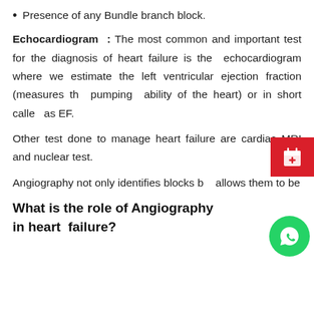Presence of any Bundle branch block.
Echocardiogram : The most common and important test for the diagnosis of heart failure is the echocardiogram where we estimate the left ventricular ejection fraction (measures the pumping ability of the heart) or in short called as EF.
Other test done to manage heart failure are cardiac MRI and nuclear test.
Angiography not only identifies blocks but allows them to be
What is the role of Angiography in heart failure?